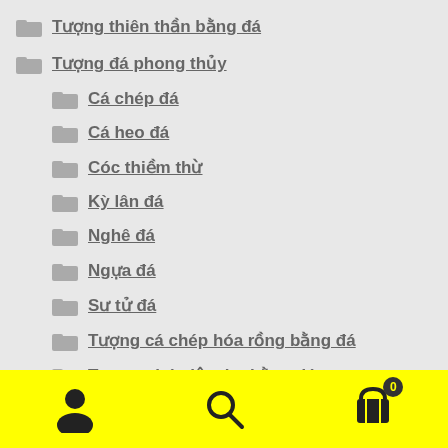Tượng thiên thần bằng đá
Tượng đá phong thủy
Cá chép đá
Cá heo đá
Cóc thiềm thừ
Kỳ lân đá
Nghê đá
Ngựa đá
Sư tử đá
Tượng cá chép hóa rồng bằng đá
Tượng phúc lộc thọ bằng đá
[Figure (screenshot): Mobile navigation bar with yellow background containing user/account icon, search icon, and shopping cart icon with badge showing 0]